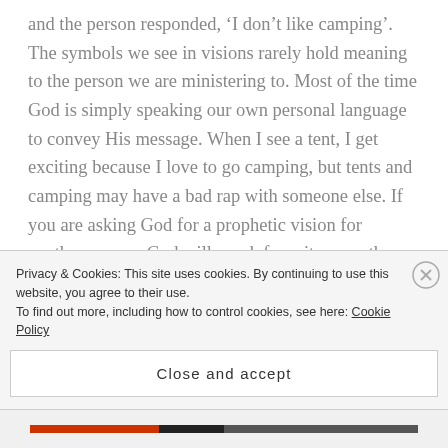and the person responded, ‘I don’t like camping’. The symbols we see in visions rarely hold meaning to the person we are ministering to. Most of the time God is simply speaking our own personal language to convey His message. When I see a tent, I get exciting because I love to go camping, but tents and camping may have a bad rap with someone else. If you are asking God for a prophetic vision for another person, God will speak from items as they pertain to your own personal experiences. You then need to ask God a series of questions about what He is showing you, so that you can cut to the quick of
Privacy & Cookies: This site uses cookies. By continuing to use this website, you agree to their use.
To find out more, including how to control cookies, see here: Cookie Policy
Close and accept